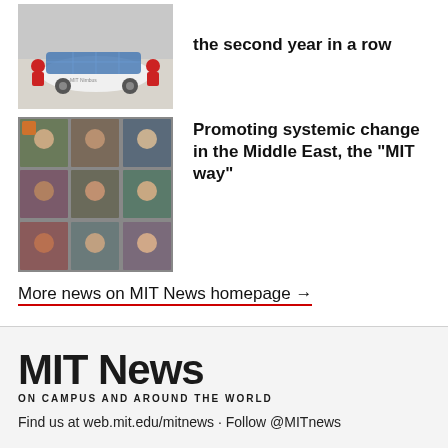[Figure (photo): Solar car with MIT Nimbus branding, students crouching behind it outdoors]
the second year in a row
[Figure (photo): Grid of video call participants (Zoom-style), 9 people on screen]
Promoting systemic change in the Middle East, the “MIT way”
More news on MIT News homepage →
MIT News
ON CAMPUS AND AROUND THE WORLD
Find us at web.mit.edu/mitnews · Follow @MITnews